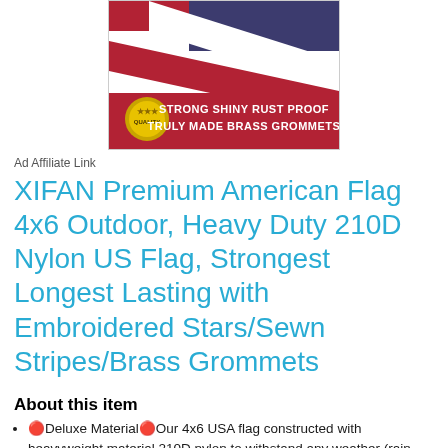[Figure (photo): Product photo of an American flag with red banner reading 'STRONG SHINY RUST PROOF TRULY MADE BRASS GROMMETS' and a gold quality seal badge]
Ad Affiliate Link
XIFAN Premium American Flag 4x6 Outdoor, Heavy Duty 210D Nylon US Flag, Strongest Longest Lasting with Embroidered Stars/Sewn Stripes/Brass Grommets
About this item
🔴Deluxe Material🔴Our 4x6 USA flag constructed with heavyweight material 210D nylon to withstand any weather (rain, snow, and sunshine). The selected sturdy material extend the lifespan of the flag by waterproof, fade resistance, UV protection, quickly dry
🔴Quality Craftsmanship🔴Heavy duty canvas made header with